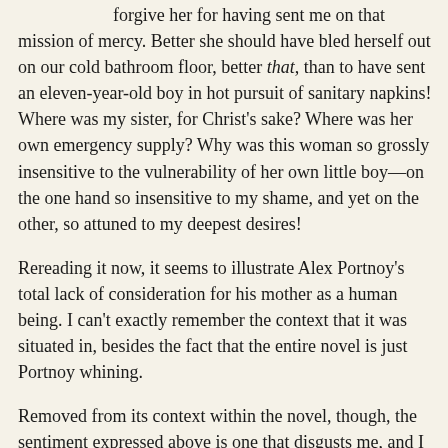forgive her for having sent me on that mission of mercy. Better she should have bled herself out on our cold bathroom floor, better that, than to have sent an eleven-year-old boy in hot pursuit of sanitary napkins! Where was my sister, for Christ's sake? Where was her own emergency supply? Why was this woman so grossly insensitive to the vulnerability of her own little boy—on the one hand so insensitive to my shame, and yet on the other, so attuned to my deepest desires!
Rereading it now, it seems to illustrate Alex Portnoy's total lack of consideration for his mother as a human being. I can't exactly remember the context that it was situated in, besides the fact that the entire novel is just Portnoy whining.
Removed from its context within the novel, though, the sentiment expressed above is one that disgusts me, and I think that's why I had to pull it out into a post of its own. I am not a member of the "period blood is art" school of thought in any way, shape, or form. Menstrual blood is one of the body's many waste products and therefore it's nothing to be ashamed of but also it is private. I have no doubt that it would be awkward for a young boy to have to go buy sanitary napkins for his mother, but here's a thought: get over